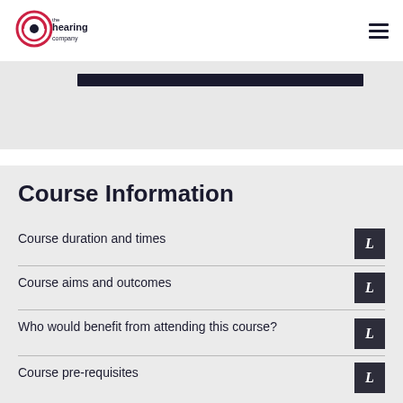The Hearing Company
[Figure (logo): The Hearing Company logo — circular waveform icon with text 'the hearing company']
Course Information
Course duration and times
Course aims and outcomes
Who would benefit from attending this course?
Course pre-requisites